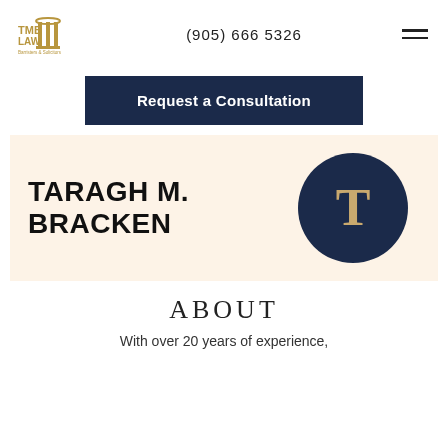[Figure (logo): TMB LAW Barristers & Solicitors logo with column icon in gold]
(905) 666 5326
Request a Consultation
[Figure (illustration): Profile section with beige background showing name TARAGH M. BRACKEN and a navy circle avatar with gold letter T]
ABOUT
With over 20 years of experience,